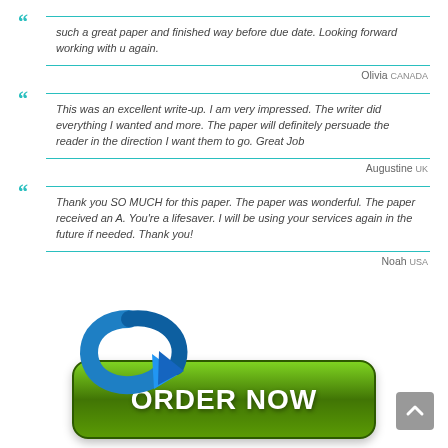such a great paper and finished way before due date. Looking forward working with u again.
Olivia Canada
This was an excellent write-up. I am very impressed. The writer did everything I wanted and more. The paper will definitely persuade the reader in the direction I want them to go. Great Job
Augustine UK
Thank you SO MUCH for this paper. The paper was wonderful. The paper received an A. You're a lifesaver. I will be using your services again in the future if needed. Thank you!
Noah USA
[Figure (illustration): Green ORDER NOW button with blue curved arrow above it, and a gray scroll-to-top button in the bottom right corner]